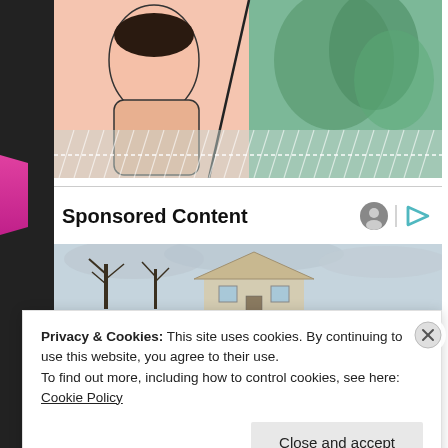[Figure (illustration): Manga-style illustration showing a character in a pink/peach outfit on the left side and a green rainy background on the right side, with diagonal rain lines at the bottom]
Sponsored Content
[Figure (photo): Photo of a house with bare winter trees against an overcast sky]
Privacy & Cookies: This site uses cookies. By continuing to use this website, you agree to their use.
To find out more, including how to control cookies, see here: Cookie Policy
Close and accept